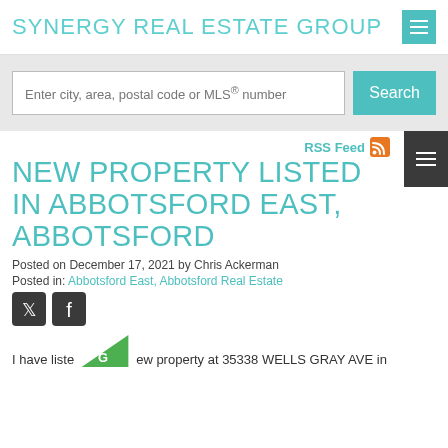SYNERGY REAL ESTATE GROUP
Enter city, area, postal code or MLS® number
NEW PROPERTY LISTED IN ABBOTSFORD EAST, ABBOTSFORD
Posted on December 17, 2021 by Chris Ackerman
Posted in: Abbotsford East, Abbotsford Real Estate
[Figure (logo): Twitter and Facebook social media icons]
I have listed a new property at 35338 WELLS GRAY AVE in